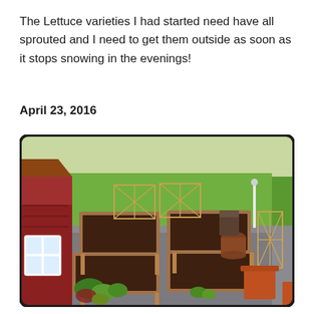The Lettuce varieties I had started need have all sprouted and I need to get them outside as soon as it stops snowing in the evenings!
April 23, 2016
[Figure (photo): Aerial view of a raised garden bed setup with multiple wooden raised beds filled with dark soil, gravel pathways between them, a red barn building on the left with a white window, green lawn in the background, wooden trellis panels, potted plants, and some leafy green plants in a lower bed.]